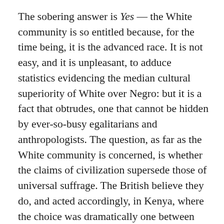The sobering answer is Yes — the White community is so entitled because, for the time being, it is the advanced race. It is not easy, and it is unpleasant, to adduce statistics evidencing the median cultural superiority of White over Negro: but it is a fact that obtrudes, one that cannot be hidden by ever-so-busy egalitarians and anthropologists. The question, as far as the White community is concerned, is whether the claims of civilization supersede those of universal suffrage. The British believe they do, and acted accordingly, in Kenya, where the choice was dramatically one between civilization and barbarism, and elsewhere; the South, where the conflict is by no means dramatic, as in Kenya, nevertheless perceives important qualitative differences between its culture and the Negroes', and intends to assert its own. National Review believes that the South's premises are correct. If the majority wills what is socially atavistic,